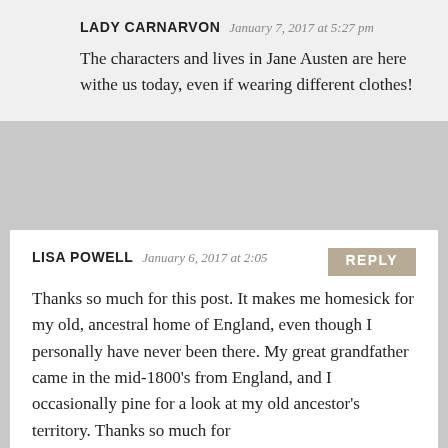LADY CARNARVON January 7, 2017 at 5:27 pm
The characters and lives in Jane Austen are here withe us today, even if wearing different clothes!
LISA POWELL January 6, 2017 at 2:05
Thanks so much for this post. It makes me homesick for my old, ancestral home of England, even though I personally have never been there. My great grandfather came in the mid-1800's from England, and I occasionally pine for a look at my old ancestor's territory. Thanks so much for